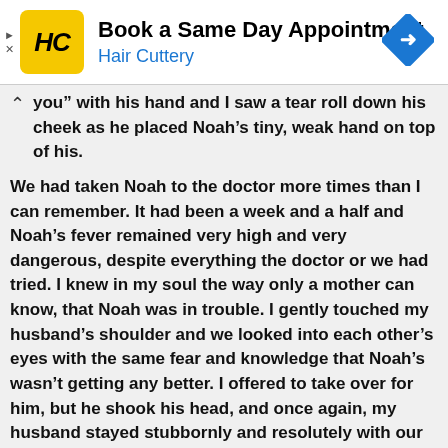[Figure (infographic): Hair Cuttery advertisement banner with yellow HC logo, text 'Book a Same Day Appointment' and 'Hair Cuttery' in blue, and a blue navigation arrow icon on the right]
you" with his hand and I saw a tear roll down his cheek as he placed Noah's tiny, weak hand on top of his.
We had taken Noah to the doctor more times than I can remember. It had been a week and a half and Noah's fever remained very high and very dangerous, despite everything the doctor or we had tried. I knew in my soul the way only a mother can know, that Noah was in trouble. I gently touched my husband's shoulder and we looked into each other's eyes with the same fear and knowledge that Noah's wasn't getting any better. I offered to take over for him, but he shook his head, and once again, my husband stayed stubbornly and resolutely with our child.
When morning finally came, we called the doctor who examined him and declared that Noah needed